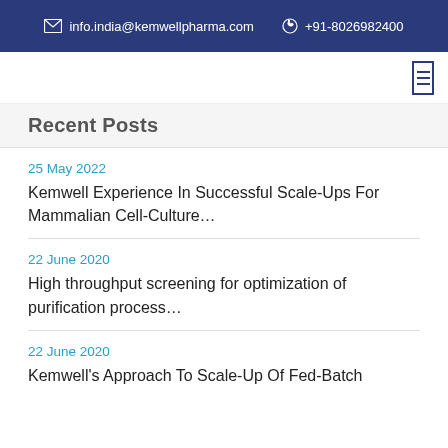info.india@kemwellpharma.com  +91-8026982400
Recent Posts
25 May 2022
Kemwell Experience In Successful Scale-Ups For Mammalian Cell-Culture…
22 June 2020
High throughput screening for optimization of purification process…
22 June 2020
Kemwell's Approach To Scale-Up Of Fed-Batch